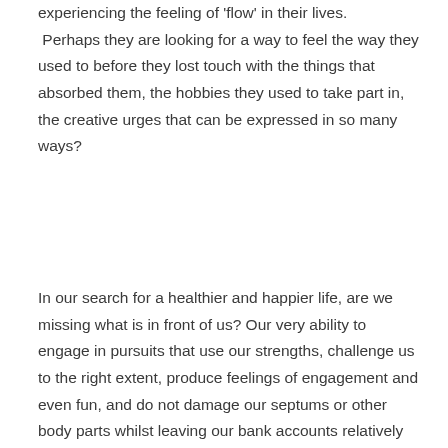experiencing the feeling of 'flow' in their lives. Perhaps they are looking for a way to feel the way they used to before they lost touch with the things that absorbed them, the hobbies they used to take part in, the creative urges that can be expressed in so many ways?
In our search for a healthier and happier life, are we missing what is in front of us? Our very ability to engage in pursuits that use our strengths, challenge us to the right extent, produce feelings of engagement and even fun, and do not damage our septums or other body parts whilst leaving our bank accounts relatively intact.